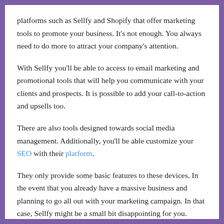platforms such as Sellfy and Shopify that offer marketing tools to promote your business. It's not enough. You always need to do more to attract your company's attention.
With Sellfy you'll be able to access to email marketing and promotional tools that will help you communicate with your clients and prospects. It is possible to add your call-to-action and upsells too.
There are also tools designed towards social media management. Additionally, you'll be able customize your SEO with their platform.
They only provide some basic features to these devices. In the event that you already have a massive business and planning to go all out with your marketing campaign. In that case, Sellfy might be a small bit disappointing for you.